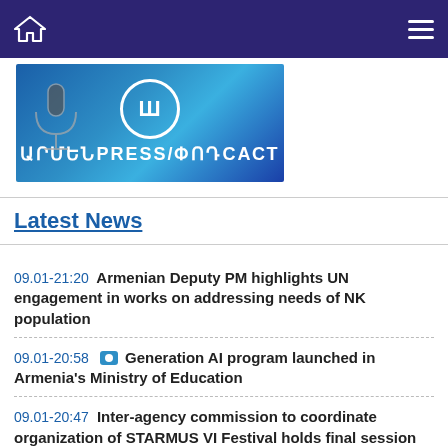Home | Menu
[Figure (illustration): Armenian Press/Podcast banner with Armenian text ԱՐՄԵՆPRESS/ՓՈԴCАСТ on blue background with microphone and circular logo]
Latest News
09.01-21:20 Armenian Deputy PM highlights UN engagement in works on addressing needs of NK population
09.01-20:58 [camera] Generation AI program launched in Armenia's Ministry of Education
09.01-20:47 Inter-agency commission to coordinate organization of STARMUS VI Festival holds final session
09.01-19:59 Russia to suspend oil supplies to states that will impose restrictions on price of its oil
09.01-18:54 EU-Armenia Civil Society Platform adopts